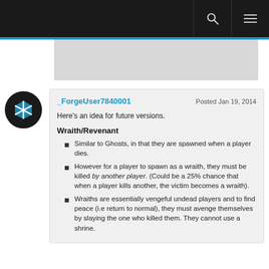Navigation bar with search and menu icons
[Figure (screenshot): Gray banner placeholder image]
_ForgeUser7840001   Posted Jan 19, 2014
Here's an idea for future versions.
Wraith/Revenant
Similar to Ghosts, in that they are spawned when a player dies.
However for a player to spawn as a wraith, they must be killed by another player. (Could be a 25% chance that when a player kills another, the victim becomes a wraith).
Wraiths are essentially vengeful undead players and to find peace (i.e return to normal), they must avenge themselves by slaying the one who killed them. They cannot use a shrine.